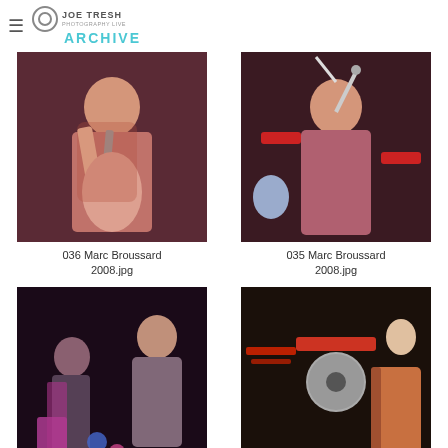JOE TRESH ARCHIVE
[Figure (photo): Concert photograph of Marc Broussard singing into microphone, wearing vest, warm stage lighting]
036 Marc Broussard 2008.jpg
[Figure (photo): Concert photograph of Marc Broussard singing with one arm raised, wearing vest, stage lighting with guitar visible in background]
035 Marc Broussard 2008.jpg
[Figure (photo): Concert photograph of band members performing on dark stage, guitarist visible on left, another performer in background]
[Figure (photo): Concert photograph of band performing, drummer visible in center, guitarist on right with acoustic guitar, red instrument on stand at top]